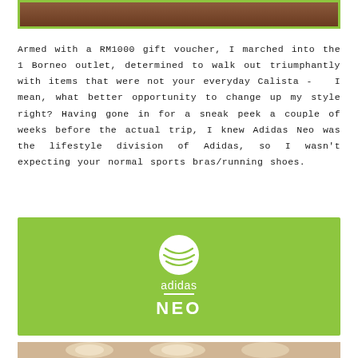[Figure (photo): Top portion of an image with green border, showing a brown/dark surface, partially cropped at the top of the page]
Armed with a RM1000 gift voucher, I marched into the 1 Borneo outlet, determined to walk out triumphantly with items that were not your everyday Calista - I mean, what better opportunity to change up my style right? Having gone in for a sneak peek a couple of weeks before the actual trip, I knew Adidas Neo was the lifestyle division of Adidas, so I wasn't expecting your normal sports bras/running shoes.
[Figure (logo): Adidas Neo logo on a bright green background. White circular globe/sphere icon at top, below it the word 'adidas' in white, a white horizontal line, and 'NEO' in large white bold letters.]
[Figure (photo): Bottom portion of a photo showing ceiling lights in a store, partially visible at the bottom of the page]